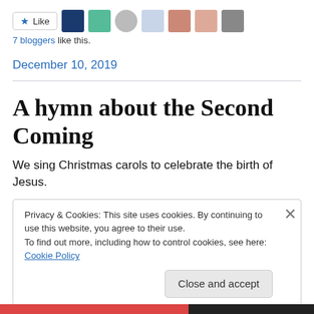[Figure (other): Like button with star icon and 7 blogger avatars]
7 bloggers like this.
December 10, 2019
A hymn about the Second Coming
We sing Christmas carols to celebrate the birth of Jesus.
Privacy & Cookies: This site uses cookies. By continuing to use this website, you agree to their use.
To find out more, including how to control cookies, see here: Cookie Policy
Close and accept